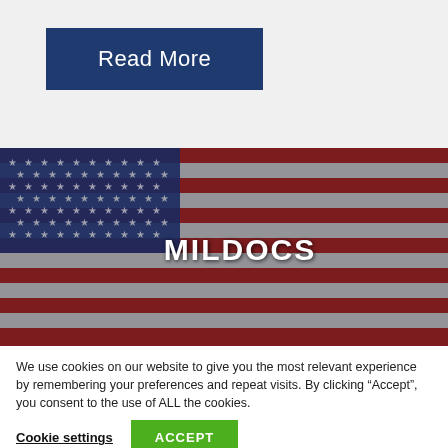Read More
[Figure (photo): American flag photo with MILDOCS text overlay in white bold letters centered-right on the image]
We use cookies on our website to give you the most relevant experience by remembering your preferences and repeat visits. By clicking “Accept”, you consent to the use of ALL the cookies.
Cookie settings
ACCEPT